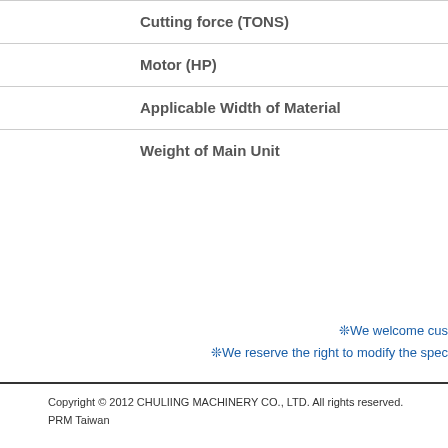| Specification |
| --- |
| Cutting force (TONS) |
| Motor (HP) |
| Applicable Width of Material |
| Weight of Main Unit |
❊We welcome cu...
❊We reserve the right to modify the spec...
Copyright © 2012 CHULIING MACHINERY CO., LTD. All rights reserved.
PRM Taiwan